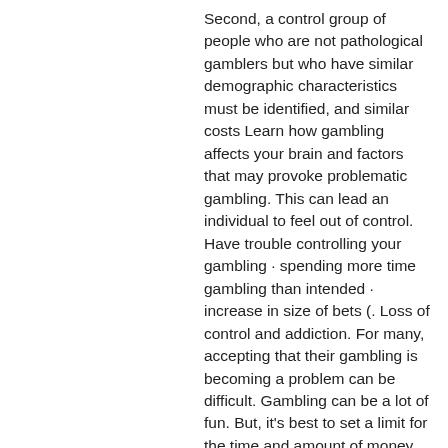Second, a control group of people who are not pathological gamblers but who have similar demographic characteristics must be identified, and similar costs Learn how gambling affects your brain and factors that may provoke problematic gambling. This can lead an individual to feel out of control. Have trouble controlling your gambling · spending more time gambling than intended · increase in size of bets (. Loss of control and addiction. For many, accepting that their gambling is becoming a problem can be difficult. Gambling can be a lot of fun. But, it's best to set a limit for the time and amount of money you spend on gambling. Usually, that should be enough to keep. Vidushpat singhania: it's a very tricky question because the gaming industry has legal as well as illegal components. And not everything is. For that reason, advertising and marketing techniques should be regulated through